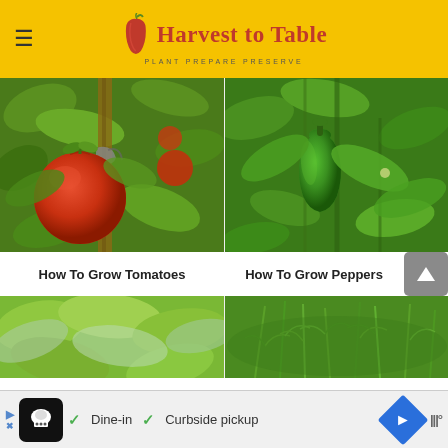Harvest to Table — PLANT PREPARE PRESERVE
[Figure (photo): Red ripe tomato growing on vine with green leaves and wooden stake support]
[Figure (photo): Green bell pepper growing on plant with green leaves]
How To Grow Tomatoes
How To Grow Peppers
[Figure (photo): Broccoli plant with broad blue-green leaves in garden]
[Figure (photo): Carrot plant tops with feathery green foliage in garden]
[Figure (screenshot): Advertisement bar: Dine-in, Curbside pickup options with restaurant icon]